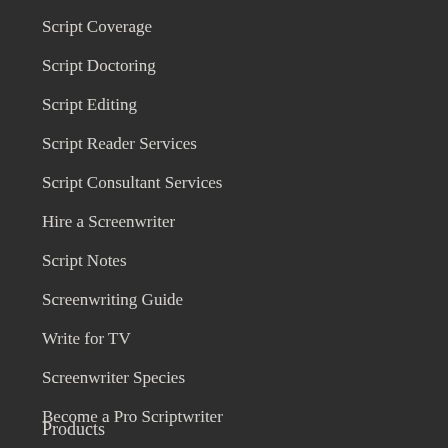Script Coverage
Script Doctoring
Script Editing
Script Reader Services
Script Consultant Services
Hire a Screenwriter
Script Notes
Screenwriting Guide
Write for TV
Screenwriter Species
Become a Pro Scriptwriter
Products